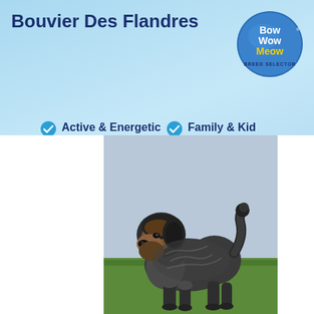Bouvier Des Flandres
[Figure (logo): Bow Wow Meow Breed Selector circular logo in blue with yellow Meow text]
Active & Energetic
Smart & Trainable
Family & Kid Friendly
Protective & Guarding
[Figure (photo): A Bouvier Des Flandres puppy/young dog standing on grass, viewed from the side, with dark grey/black wavy fluffy coat and tan face markings, tail raised, looking upward]